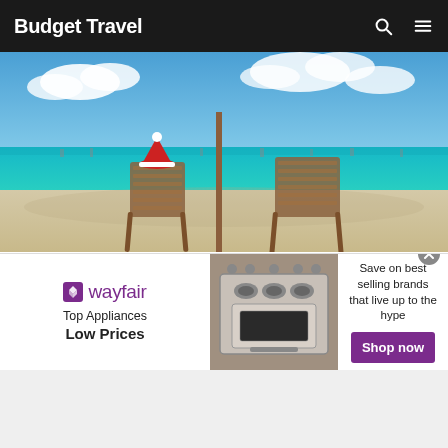Budget Travel
[Figure (photo): Two wooden beach chairs on a white sand beach with turquoise water and moored sailboats in the background; one chair has a red Santa hat on it; a tall wooden pole stands between the chairs; blue sky with clouds above.]
No plans for the holidays? No problem. Our friends at Skyscanner.com have got big plans for you: They’ve crunched the numbers on Christmas and New Year’s airfares to deliver some truly…
[Figure (infographic): Wayfair advertisement banner: 'Top Appliances Low Prices' on left, image of a stainless steel range/stove in middle, 'Save on best selling brands that live up to the hype' with a purple 'Shop now' button on right.]